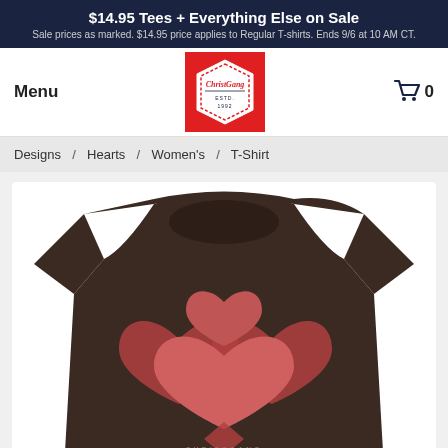$14.95 Tees + Everything Else on Sale
Sale prices as marked. $14.95 price applies to Regular T-shirts. Ends 9/6 at 10 AM CT.
Menu
[Figure (logo): ChristGang red and white logo badge on red background]
0
Designs  /  Hearts  /  Women's  /  T-Shirt
[Figure (photo): Dark brown women's t-shirt with pink/red claddagh-style heart graphic design and 'CHRISTGANG LIFESTYLE APPAREL' text at bottom]